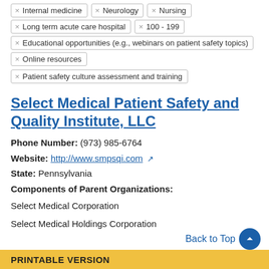× Internal medicine
× Neurology
× Nursing
× Long term acute care hospital
× 100 - 199
× Educational opportunities (e.g., webinars on patient safety topics)
× Online resources
× Patient safety culture assessment and training
Select Medical Patient Safety and Quality Institute, LLC
Phone Number: (973) 985-6764
Website: http://www.smpsqi.com
State: Pennsylvania
Components of Parent Organizations:
Select Medical Corporation
Select Medical Holdings Corporation
Back to Top
PRINTABLE VERSION